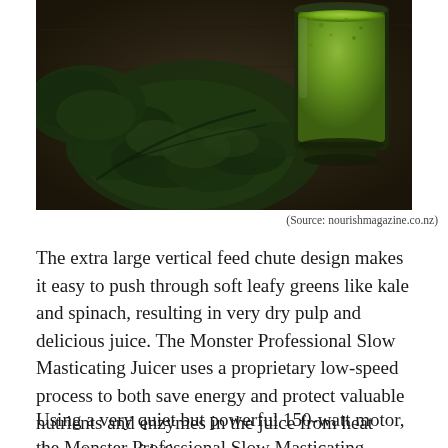[Figure (photo): Overhead view of dark leafy kale leaves curled on a wooden surface alongside a glass filled with bright green juice, shot from above on a dark wooden table.]
(Source: nourishmagazine.co.nz)
The extra large vertical feed chute design makes it easy to push through soft leafy greens like kale and spinach, resulting in very dry pulp and delicious juice. The Monster Professional Slow Masticating Juicer uses a proprietary low-speed process to both save energy and protect valuable nutrients and enzymes in the juice from heat damage or oxidation.
Using a very quiet but powerful 150-watt motor, the Monster Professional Slow Masticating Juicer